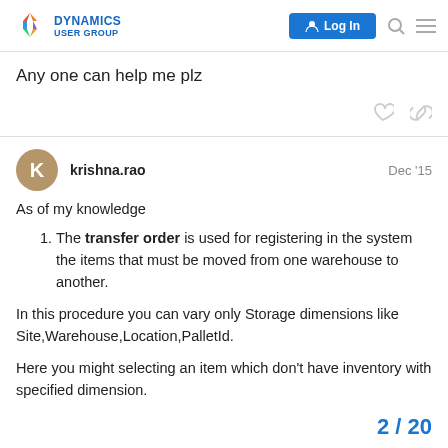Dynamics User Group — Log In
Any one can help me plz
krishna.rao   Dec '15
As of my knowledge
The transfer order is used for registering in the system the items that must be moved from one warehouse to another.
In this procedure you can vary only Storage dimensions like Site,Warehouse,Location,PalletId.
Here you might selecting an item which don't have inventory with specified dimension.
2 / 20